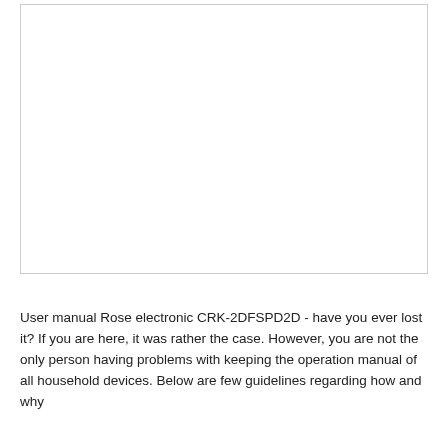[Figure (other): Large blank white rectangle with a thin grey border, representing a placeholder image area for a user manual page.]
User manual Rose electronic CRK-2DFSPD2D - have you ever lost it? If you are here, it was rather the case. However, you are not the only person having problems with keeping the operation manual of all household devices. Below are few guidelines regarding how and why